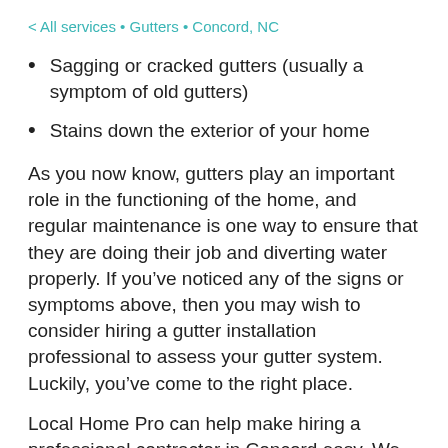< All services • Gutters • Concord, NC
Sagging or cracked gutters (usually a symptom of old gutters)
Stains down the exterior of your home
As you now know, gutters play an important role in the functioning of the home, and regular maintenance is one way to ensure that they are doing their job and diverting water properly. If you've noticed any of the signs or symptoms above, then you may wish to consider hiring a gutter installation professional to assess your gutter system. Luckily, you've come to the right place.
Local Home Pro can help make hiring a professional contractor in Concord easy. We